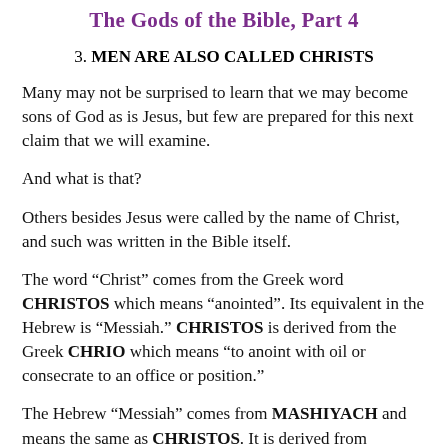The Gods of the Bible, Part 4
3. MEN ARE ALSO CALLED CHRISTS
Many may not be surprised to learn that we may become sons of God as is Jesus, but few are prepared for this next claim that we will examine.
And what is that?
Others besides Jesus were called by the name of Christ, and such was written in the Bible itself.
The word “Christ” comes from the Greek word CHRISTOS which means “anointed”. Its equivalent in the Hebrew is “Messiah.” CHRISTOS is derived from the Greek CHRIO which means “to anoint with oil or consecrate to an office or position.”
The Hebrew “Messiah” comes from MASHIYACH and means the same as CHRISTOS. It is derived from